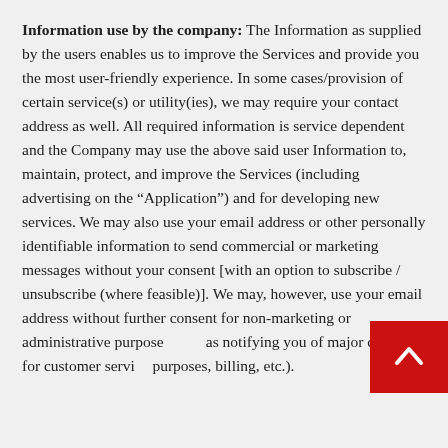Information use by the company: The Information as supplied by the users enables us to improve the Services and provide you the most user-friendly experience. In some cases/provision of certain service(s) or utility(ies), we may require your contact address as well. All required information is service dependent and the Company may use the above said user Information to, maintain, protect, and improve the Services (including advertising on the “Application”) and for developing new services. We may also use your email address or other personally identifiable information to send commercial or marketing messages without your consent [with an option to subscribe / unsubscribe (where feasible)]. We may, however, use your email address without further consent for non-marketing or administrative purposes such as notifying you of major changes, for customer service purposes, billing, etc.).